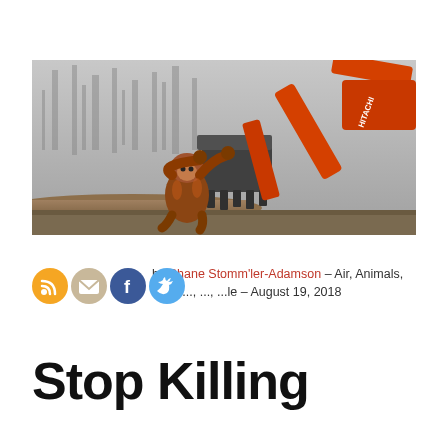[Figure (photo): An orangutan clinging to the teeth/bucket of an orange Hitachi excavator in a cleared forest area with fallen logs and bare trees in the background. The excavator arm is bright orange/red.]
[Figure (infographic): Row of social sharing icons: RSS feed (orange circle with wifi symbol), Email (beige/tan circle with envelope), Facebook (blue circle with f logo), Twitter (light blue circle with bird logo)]
by Shane Stomm'ler-Adamson – Air, Animals, P... G..., ..., ...le – August 19, 2018
Stop Killing